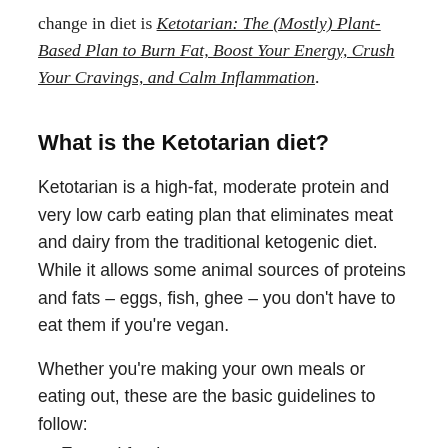change in diet is Ketotarian: The (Mostly) Plant-Based Plan to Burn Fat, Boost Your Energy, Crush Your Cravings, and Calm Inflammation.
What is the Ketotarian diet?
Ketotarian is a high-fat, moderate protein and very low carb eating plan that eliminates meat and dairy from the traditional ketogenic diet. While it allows some animal sources of proteins and fats – eggs, fish, ghee – you don't have to eat them if you're vegan.
Whether you're making your own meals or eating out, these are the basic guidelines to follow:
Eat real food.